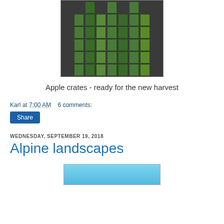[Figure (photo): Stacked green apple crates piled high in a storage area or warehouse, viewed from the front]
Apple crates - ready for the new harvest
Karl at 7:00 AM    6 comments:
Share
WEDNESDAY, SEPTEMBER 19, 2018
Alpine landscapes
[Figure (photo): Partial view of a photo showing a light blue sky or alpine scene, partially cut off at bottom of page]